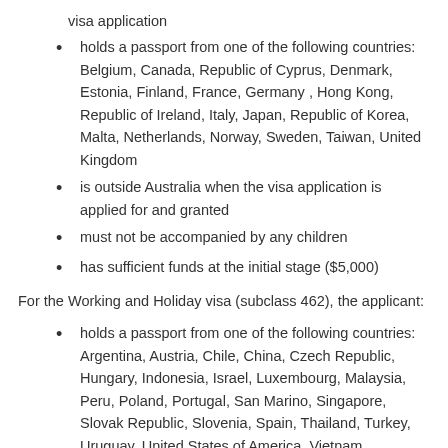visa application
holds a passport from one of the following countries: Belgium, Canada, Republic of Cyprus, Denmark, Estonia, Finland, France, Germany , Hong Kong, Republic of Ireland, Italy, Japan, Republic of Korea, Malta, Netherlands, Norway, Sweden, Taiwan, United Kingdom
is outside Australia when the visa application is applied for and granted
must not be accompanied by any children
has sufficient funds at the initial stage ($5,000)
For the Working and Holiday visa (subclass 462), the applicant:
holds a passport from one of the following countries: Argentina, Austria, Chile, China, Czech Republic, Hungary, Indonesia, Israel, Luxembourg, Malaysia, Peru, Poland, Portugal, San Marino, Singapore, Slovak Republic, Slovenia, Spain, Thailand, Turkey, Uruguay, United States of America, Vietnam
is outside Australia when the visa application is applied for and